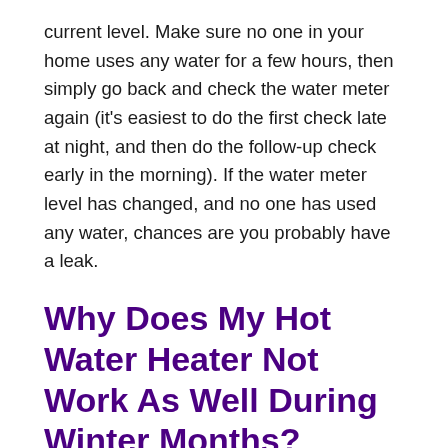current level. Make sure no one in your home uses any water for a few hours, then simply go back and check the water meter again (it's easiest to do the first check late at night, and then do the follow-up check early in the morning). If the water meter level has changed, and no one has used any water, chances are you probably have a leak.
Why Does My Hot Water Heater Not Work As Well During Winter Months?
Kansas City has some cold winter months, and the city has some other things that are...